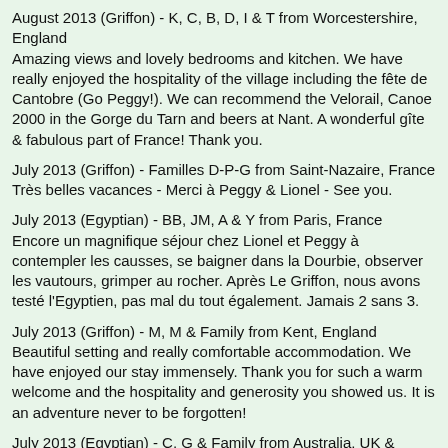August 2013 (Griffon) - K, C, B, D, I & T from Worcestershire, England
Amazing views and lovely bedrooms and kitchen. We have really enjoyed the hospitality of the village including the fête de Cantobre (Go Peggy!). We can recommend the Velorail, Canoe 2000 in the Gorge du Tarn and beers at Nant. A wonderful gîte & fabulous part of France! Thank you.
July 2013 (Griffon) - Familles D-P-G from Saint-Nazaire, France
Très belles vacances - Merci à Peggy & Lionel - See you.
July 2013 (Egyptian) - BB, JM, A & Y from Paris, France
Encore un magnifique séjour chez Lionel et Peggy à contempler les causses, se baigner dans la Dourbie, observer les vautours, grimper au rocher. Après Le Griffon, nous avons testé l'Egyptien, pas mal du tout également. Jamais 2 sans 3.
July 2013 (Griffon) - M, M & Family from Kent, England
Beautiful setting and really comfortable accommodation. We have enjoyed our stay immensely. Thank you for such a warm welcome and the hospitality and generosity you showed us. It is an adventure never to be forgotten!
July 2013 (Egyptian) - C, G & Family from Australia, UK & Canada
More than lovely having some time with you. We hope...